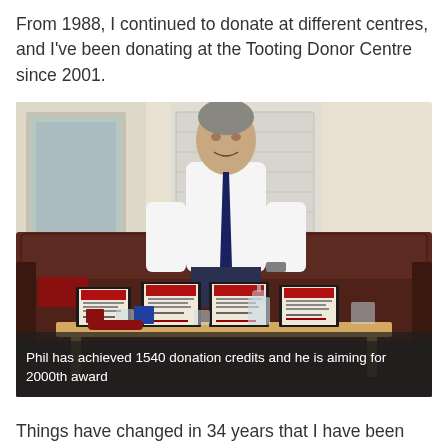From 1988, I continued to donate at different centres, and I've been donating at the Tooting Donor Centre since 2001.
[Figure (photo): A man wearing a white short-sleeved shirt and navy tie sits on a dark brown leather sofa. In front of him on a wooden coffee table are several framed certificates, glass items (a decanter and glasses), and a small medal box. The room has a mirror, shuttered windows, and a clock in the background.]
Phil has achieved 1540 donation credits and he is aiming for 2000th award
Things have changed in 34 years that I have been